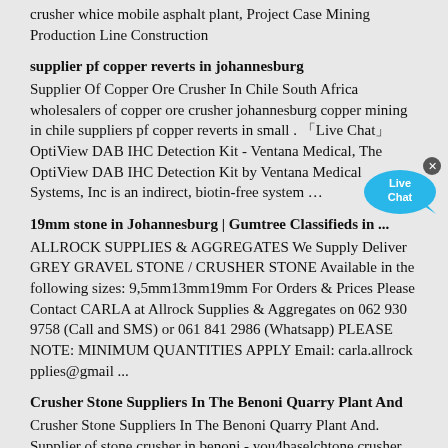crusher whice mobile asphalt plant, Project Case Mining Production Line Construction
supplier pf copper reverts in johannesburg
Supplier Of Copper Ore Crusher In Chile South Africa wholesalers of copper ore crusher johannesburg copper mining in chile suppliers pf copper reverts in small . 「Live Chat」 OptiView DAB IHC Detection Kit - Ventana Medical, The OptiView DAB IHC Detection Kit by Ventana Medical Systems, Inc is an indirect, biotin-free system …
19mm stone in Johannesburg | Gumtree Classifieds in ...
ALLROCK SUPPLIES & AGGREGATES We Supply Deliver GREY GRAVEL STONE / CRUSHER STONE Available in the following sizes: 9,5mm13mm19mm For Orders & Prices Please Contact CARLA at Allrock Supplies & Aggregates on 062 930 9758 (Call and SMS) or 061 841 2986 (Whatsapp) PLEASE NOTE: MINIMUM QUANTITIES APPLY Email: carla.allrock pplies@gmail ...
Crusher Stone Suppliers In The Benoni Quarry Plant And
Crusher Stone Suppliers In The Benoni Quarry Plant And. Supplier of stone crusher in benoni - you4baselchtone crusher gauteng crusher stone suppliers in the benoni 14 jan 2014 stone crusher and quarry plant in benoni crushed stone wikipedia crushed stone or angular rock is a form of construction aggregate typically. Get Price List Chat Online